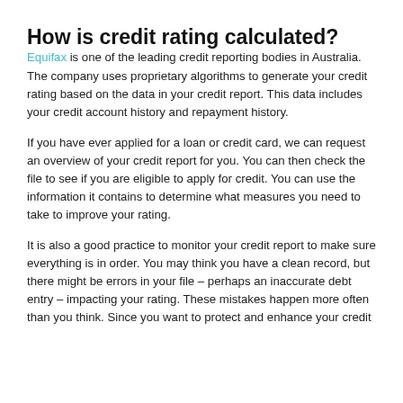How is credit rating calculated?
Equifax is one of the leading credit reporting bodies in Australia. The company uses proprietary algorithms to generate your credit rating based on the data in your credit report. This data includes your credit account history and repayment history.
If you have ever applied for a loan or credit card, we can request an overview of your credit report for you. You can then check the file to see if you are eligible to apply for credit. You can use the information it contains to determine what measures you need to take to improve your rating.
It is also a good practice to monitor your credit report to make sure everything is in order. You may think you have a clean record, but there might be errors in your file – perhaps an inaccurate debt entry – impacting your rating. These mistakes happen more often than you think. Since you want to protect and enhance your credit...